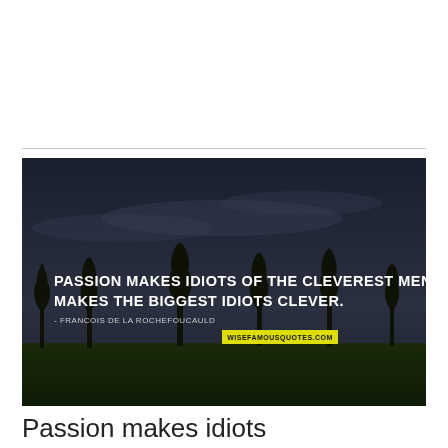[Figure (photo): Dark atmospheric landscape photo with silhouetted bare trees against a dark stormy sky and dark green grass field. Overlaid white bold text reads: 'PASSION MAKES IDIOTS OF THE CLEVEREST MEN, AND MAKES THE BIGGEST IDIOTS CLEVER.' Attribution below in smaller text: '- FRANCOIS DE LA ROCHEFOUCAULD'. Yellow banner with black text 'WISEFAMOUSQUOTES.COM' below attribution.]
Passion makes idiots of the